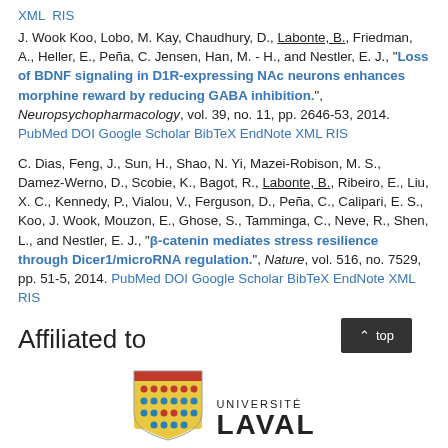XML RIS
J. Wook Koo, Lobo, M. Kay, Chaudhury, D., Labonte, B., Friedman, A., Heller, E., Peña, C. Jensen, Han, M. - H., and Nestler, E. J., "Loss of BDNF signaling in D1R-expressing NAc neurons enhances morphine reward by reducing GABA inhibition.", Neuropsychopharmacology, vol. 39, no. 11, pp. 2646-53, 2014. PubMed DOI Google Scholar BibTeX EndNote XML RIS
C. Dias, Feng, J., Sun, H., Shao, N. Yi, Mazei-Robison, M. S., Damez-Werno, D., Scobie, K., Bagot, R., Labonte, B., Ribeiro, E., Liu, X. C., Kennedy, P., Vialou, V., Ferguson, D., Peña, C., Calipari, E. S., Koo, J. Wook, Mouzon, E., Ghose, S., Tamminga, C., Neve, R., Shen, L., and Nestler, E. J., "β-catenin mediates stress resilience through Dicer1/microRNA regulation.", Nature, vol. 516, no. 7529, pp. 51-5, 2014. PubMed DOI Google Scholar BibTeX EndNote XML RIS
Affiliated to
[Figure (logo): Université Laval logo with shield crest and text UNIVERSITÉ LAVAL]